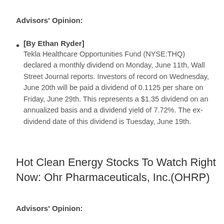Advisors' Opinion:
[By Ethan Ryder] Tekla Healthcare Opportunities Fund (NYSE:THQ) declared a monthly dividend on Monday, June 11th, Wall Street Journal reports. Investors of record on Wednesday, June 20th will be paid a dividend of 0.1125 per share on Friday, June 29th. This represents a $1.35 dividend on an annualized basis and a dividend yield of 7.72%. The ex-dividend date of this dividend is Tuesday, June 19th.
Hot Clean Energy Stocks To Watch Right Now: Ohr Pharmaceuticals, Inc.(OHRP)
Advisors' Opinion: